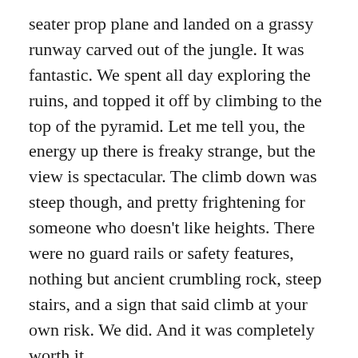seater prop plane and landed on a grassy runway carved out of the jungle. It was fantastic. We spent all day exploring the ruins, and topped it off by climbing to the top of the pyramid. Let me tell you, the energy up there is freaky strange, but the view is spectacular. The climb down was steep though, and pretty frightening for someone who doesn’t like heights. There were no guard rails or safety features, nothing but ancient crumbling rock, steep stairs, and a sign that said climb at your own risk. We did. And it was completely worth it.